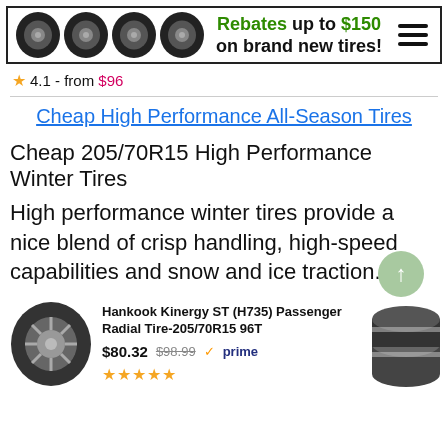[Figure (infographic): Banner advertisement showing four tire images on the left and text: Rebates up to $150 on brand new tires! with a hamburger menu icon on the right.]
★ 4.1 - from $96
Cheap High Performance All-Season Tires
Cheap 205/70R15 High Performance Winter Tires
High performance winter tires provide a nice blend of crisp handling, high-speed capabilities and snow and ice traction.
[Figure (photo): Product listing showing a Hankook Kinergy ST (H735) Passenger Radial Tire-205/70R15 96T with price $80.32 (was $98.99), Amazon Prime badge, and 5-star rating. Flanked by tire photos on each side.]